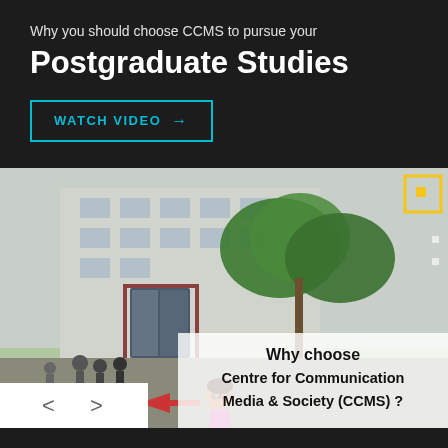Why you should choose CCMS to pursue your
Postgraduate Studies
WATCH VIDEO →
[Figure (photo): Campus photo showing a university building entrance with palm trees and students gathered outside, overlaid with a semi-transparent box reading 'Why choose Centre for Communication Media & Society (CCMS)?'. A yellow bordered square with dot appears top right. Navigation dots visible on right side. Navigation arrows at bottom left.]
Why choose Centre for Communication Media & Society (CCMS) ?